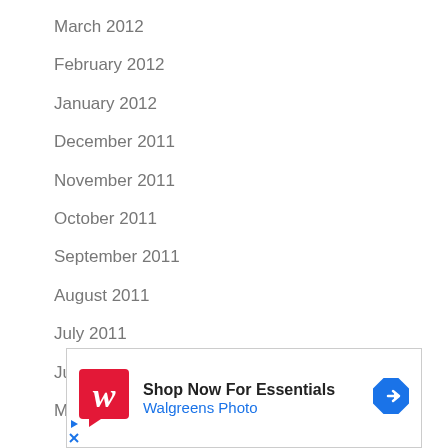March 2012
February 2012
January 2012
December 2011
November 2011
October 2011
September 2011
August 2011
July 2011
June 2011
May 2011
[Figure (other): Walgreens advertisement: Shop Now For Essentials - Walgreens Photo]